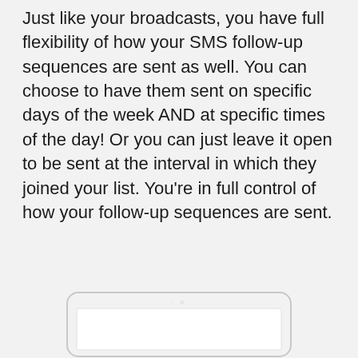Just like your broadcasts, you have full flexibility of how your SMS follow-up sequences are sent as well. You can choose to have them sent on specific days of the week AND at specific times of the day! Or you can just leave it open to be sent at the interval in which they joined your list. You're in full control of how your follow-up sequences are sent.
[Figure (illustration): Partial view of a tablet device (bottom portion visible), showing a rounded rectangle device outline with a camera indicator at the top and a white screen area inside.]